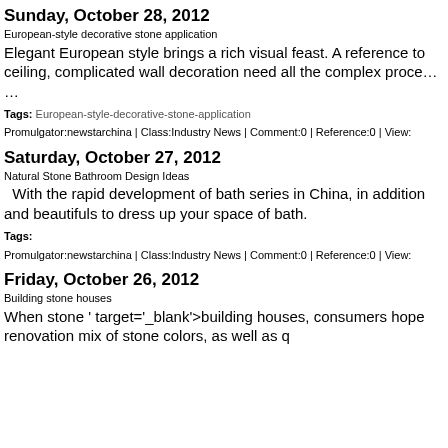Sunday, October 28, 2012
European-style decorative stone application
Elegant European style brings a rich visual feast. A reference to ceiling, complicated wall decoration need all the complex proce…
…
Tags: European-style-decorative-stone-application
Promulgator:newstarchina | Class:Industry News | Comment:0 | Reference:0 | View:
Saturday, October 27, 2012
Natural Stone Bathroom Design Ideas
With the rapid development of bath series in China, in addition and beautifuls to dress up your space of bath.
Tags:
Promulgator:newstarchina | Class:Industry News | Comment:0 | Reference:0 | View:
Friday, October 26, 2012
Building stone houses
When stone ' target='_blank'>building houses, consumers hope renovation mix of stone colors, as well as q